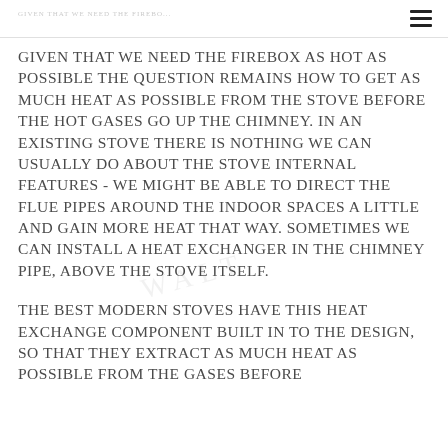GIVEN THAT WE NEED THE FIREBOX AS HOT AS POSSIBLE THE QUESTION REMAINS HOW TO GET AS MUCH HEAT AS POSSIBLE FROM THE STOVE BEFORE THE HOT GASES GO UP THE CHIMNEY. IN AN EXISTING STOVE THERE IS NOTHING WE CAN USUALLY DO ABOUT THE STOVE INTERNAL FEATURES - WE MIGHT BE ABLE TO DIRECT THE FLUE PIPES AROUND THE INDOOR SPACES A LITTLE AND GAIN MORE HEAT THAT WAY. SOMETIMES WE CAN INSTALL A HEAT EXCHANGER IN THE CHIMNEY PIPE, ABOVE THE STOVE ITSELF.
THE BEST MODERN STOVES HAVE THIS HEAT EXCHANGE COMPONENT BUILT IN TO THE DESIGN, SO THAT THEY EXTRACT AS MUCH HEAT AS POSSIBLE FROM THE GASES BEFORE